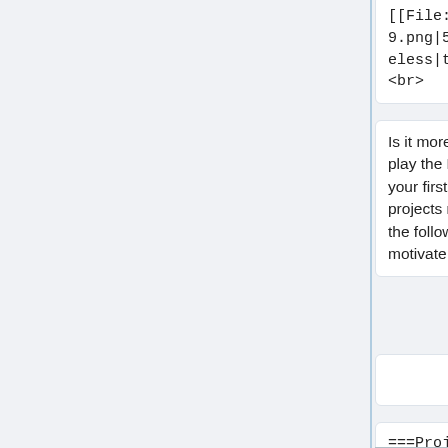[[File:0397hello9.png|500px|frameless|thumb]]
<br>
[[File:0397hello9.png|500px|frameless|thumb]]
<br>
Is it more easy and simple to play the Mixly projects? Try your first Mixly blocks projects right now. Begin with the following projects to motivate your creations!
Is it more easy and simple to play the Mixly projects? Try your first Mixly blocks projects right now. Begin with the following projects to motivate your creations!
<br>
===Project 2: LED Light===
===Project 2: LED Light===